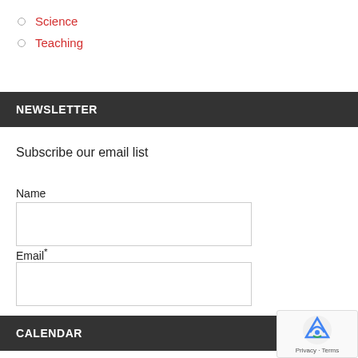Science
Teaching
NEWSLETTER
Subscribe our email list
Name
Email*
Subscribe
CALENDAR